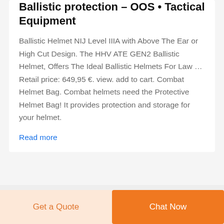Ballistic protection – OOS • Tactical Equipment
Ballistic Helmet NIJ Level IIIA with Above The Ear or High Cut Design. The HHV ATE GEN2 Ballistic Helmet, Offers The Ideal Ballistic Helmets For Law … Retail price: 649,95 €. view. add to cart. Combat Helmet Bag. Combat helmets need the Protective Helmet Bag! It provides protection and storage for your helmet.
Read more
[Figure (photo): Product thumbnail showing a logo with green and red circular design]
[Figure (photo): Product thumbnail showing a silver cylindrical object]
Get a Quote
Chat Now